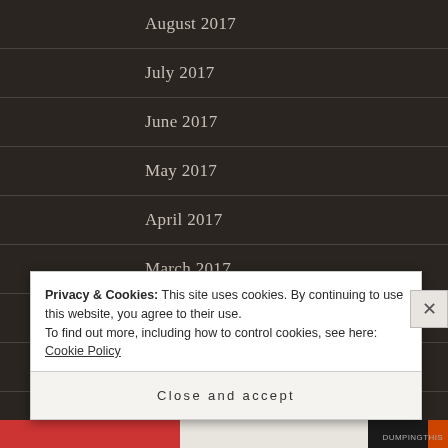August 2017
July 2017
June 2017
May 2017
April 2017
March 2017
February 2017
January 2017
Privacy & Cookies: This site uses cookies. By continuing to use this website, you agree to their use.
To find out more, including how to control cookies, see here: Cookie Policy
Close and accept